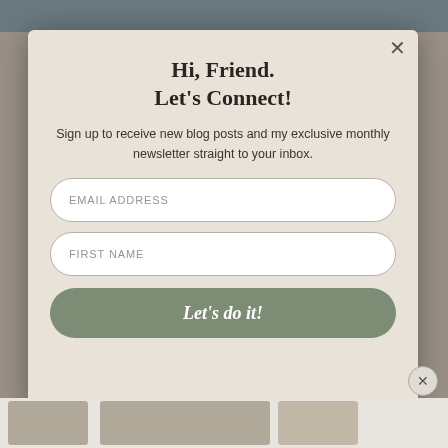[Figure (photo): Background webpage screenshot showing a blog-style page with a photo and content partially visible behind a modal popup]
Hi, Friend.
Let's Connect!
Sign up to receive new blog posts and my exclusive monthly newsletter straight to your inbox.
EMAIL ADDRESS
FIRST NAME
Let's do it!